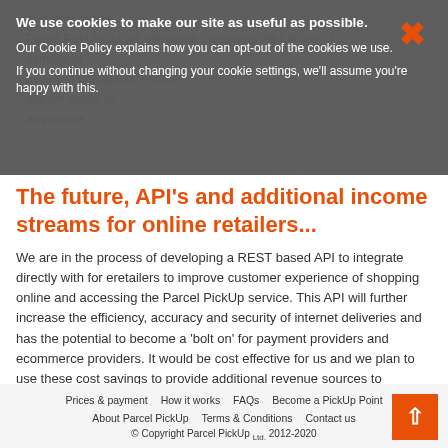We use cookies to make our site as useful as possible.
Our Cookie Policy explains how you can opt-out of the cookies we use.
If you continue without changing your cookie settings, we'll assume you're happy with this.
The future, API's and additional income streams for online retailers...
We are in the process of developing a REST based API to integrate directly with for eretailers to improve customer experience of shopping online and accessing the Parcel PickUp service. This API will further increase the efficiency, accuracy and security of internet deliveries and has the potential to become a 'bolt on' for payment providers and ecommerce providers. It would be cost effective for us and we plan to use these cost savings to provide additional revenue sources to participating eretailers. We are now actively seeking input from eretailers, courier companies, payment providers, web developers and others. Like to get involved? Get in touch, we'd love to talk with you!
Prices & payment | How it works | FAQs | Become a PickUp Point | About Parcel PickUp | Terms & Conditions | Contact us
© Copyright Parcel PickUp Ltd. 2012-2020